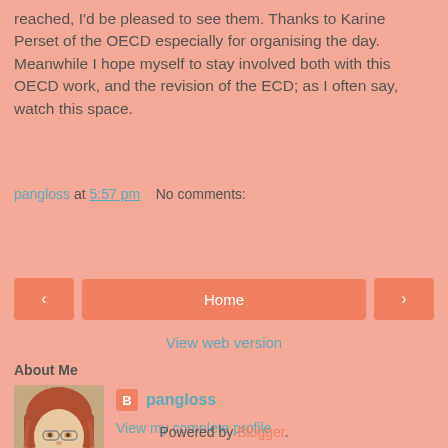reached, I'd be pleased to see them. Thanks to Karine Perset of the OECD especially for organising the day. Meanwhile I hope myself to stay involved both with this OECD work, and the revision of the ECD; as I often say, watch this space.
pangloss at 5:57 pm   No comments:
Share
[Figure (screenshot): Navigation bar with previous arrow button, Home center button, and next arrow button]
View web version
About Me
[Figure (photo): Profile photo of a woman with reddish-blonde hair and glasses]
pangloss
View my complete profile
Powered by Blogger.